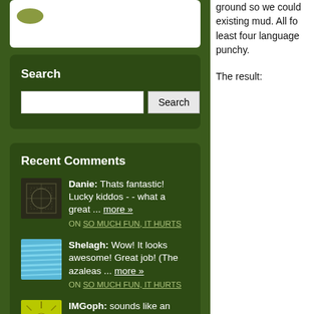[Figure (screenshot): Partial widget at top with white background and green oval logo]
Search
[Figure (screenshot): Search input box with Search button]
Recent Comments
Danie: Thats fantastic! Lucky kiddos - - what a great ... more » ON SO MUCH FUN, IT HURTS
Shelagh: Wow! It looks awesome! Great job! (The azaleas ... more » ON SO MUCH FUN, IT HURTS
IMGoph: sounds like an awesome day!... more » ON NOT PICTURED
ground so we could existing mud. All fo least four language punchy.
The result: